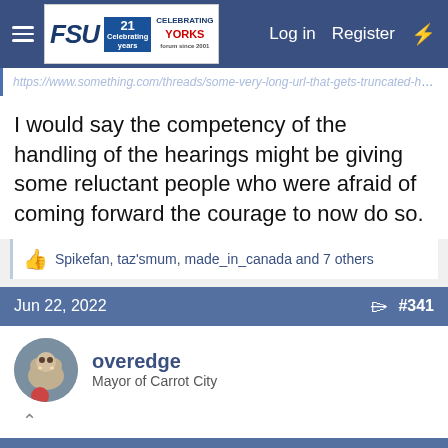FSU forum navigation bar with logo, Log in, Register links
https://www.something.com/threads/some-long-url
I would say the competency of the handling of the hearings might be giving some reluctant people who were afraid of coming forward the courage to now do so.
👍 Spikefan, taz'smum, made_in_canada and 7 others
Jun 22, 2022  #341
overedge
Mayor of Carrot City
This site uses cookies to help personalise content, tailor your experience and to keep you logged in if you register.
[Figure (advertisement): 1-800-flowers.com ad: Now in the Plant Shop, Fresh picks for summer, with plant image and SEE WHAT'S NEW button]